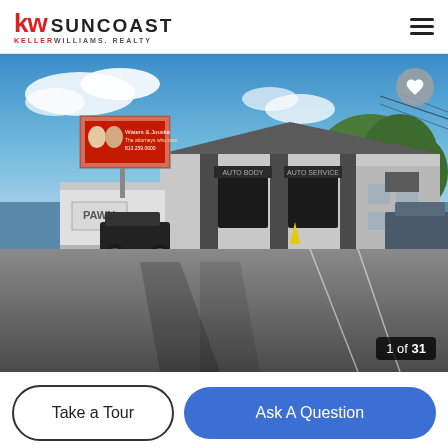KW SUNCOAST KELLERWILLIAMS. REALTY
[Figure (photo): Exterior photo of a commercial building with grey facade and automotive bays, large parking lot in foreground, billboard visible on the left, trees on the right, blue sky with clouds. Image counter shows 1 of 31.]
Take a Tour
Ask A Question